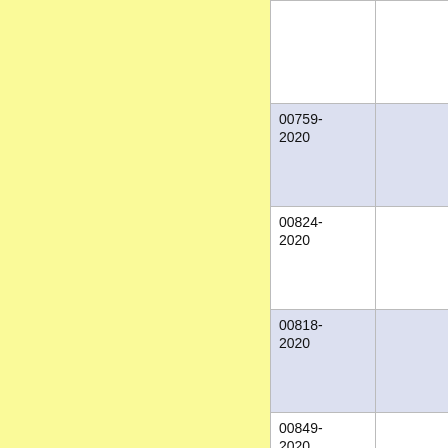| Case Number |  |
| --- | --- |
|  |  |
| 00759-2020 |  |
| 00824-2020 |  |
| 00818-2020 |  |
| 00849-2020 |  |